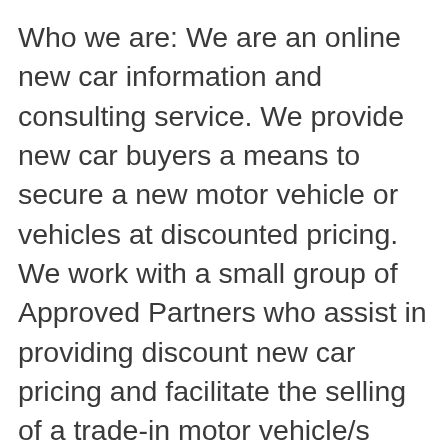Who we are: We are an online new car information and consulting service. We provide new car buyers a means to secure a new motor vehicle or vehicles at discounted pricing. We work with a small group of Approved Partners who assist in providing discount new car pricing and facilitate the selling of a trade-in motor vehicle/s when/if required. We or our Approved Partners may also introduce Specialised Lenders, and/or Loan Originators who have expressed general willingness to review your information and determine if they are willing to provide you with the services or products that may have prompted you to visit our Site.